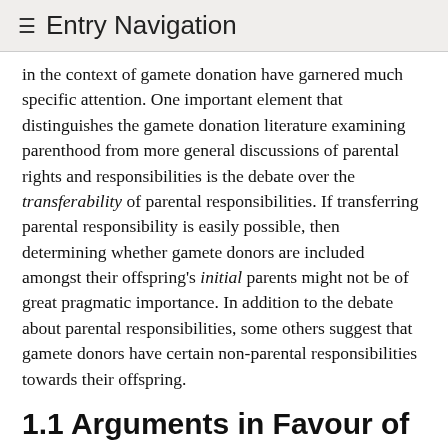≡ Entry Navigation
in the context of gamete donation have garnered much specific attention. One important element that distinguishes the gamete donation literature examining parenthood from more general discussions of parental rights and responsibilities is the debate over the transferability of parental responsibilities. If transferring parental responsibility is easily possible, then determining whether gamete donors are included amongst their offspring's initial parents might not be of great pragmatic importance. In addition to the debate about parental responsibilities, some others suggest that gamete donors have certain non-parental responsibilities towards their offspring.
1.1 Arguments in Favour of Gamete Donor Parenthood
A common starting point for the claim that gamete donors acquire parental responsibilities is the intuition that individuals who reproduce by accident, due to faulty